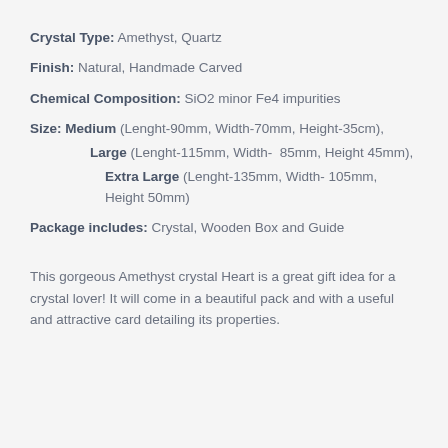Crystal Type: Amethyst, Quartz
Finish: Natural, Handmade Carved
Chemical Composition: SiO2 minor Fe4 impurities
Size: Medium (Lenght-90mm, Width-70mm, Height-35cm),
Large (Lenght-115mm, Width- 85mm, Height 45mm),
Extra Large (Lenght-135mm, Width- 105mm, Height 50mm)
Package includes: Crystal, Wooden Box and Guide
This gorgeous Amethyst crystal Heart is a great gift idea for a crystal lover! It will come in a beautiful pack and with a useful and attractive card detailing its properties.